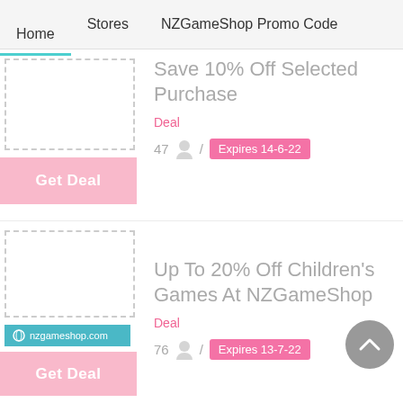Home   Stores   NZGameShop Promo Code
Save 10% Off Selected Purchase
Deal
47  /  Expires 14-6-22
Get Deal
Up To 20% Off Children's Games At NZGameShop
Deal
76  /  Expires 13-7-22
Get Deal
nzgameshop.com